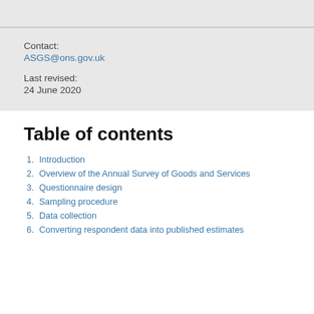Contact:
ASGS@ons.gov.uk
Last revised:
24 June 2020
Table of contents
1. Introduction
2. Overview of the Annual Survey of Goods and Services
3. Questionnaire design
4. Sampling procedure
5. Data collection
6. Converting respondent data into published estimates